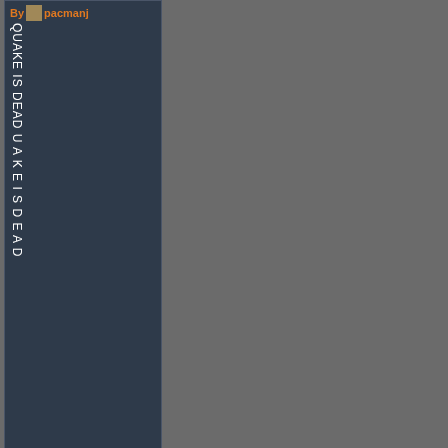By [avatar] pacmanj
QUAKE IS DEAD U A K E I S D E A D
2%
<< Comment #23 @ 08:05 CDT, 22 May 2021 >>
(Link, Reply)
By [avatar] pet_cia_
Imagine playing QC in 2021...